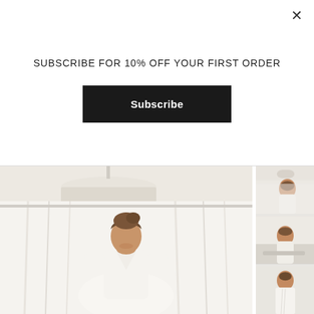SUBSCRIBE FOR 10% OFF YOUR FIRST ORDER
Subscribe
[Figure (photo): Main large product photo showing a woman with brunette updo hair wearing a white long-sleeve V-neck dress, standing in a bright room with white curtains and a white pendant lamp. Overlaid text: SALE!, PREVIOUS, NEXT]
[Figure (photo): Thumbnail 1: woman in white short dress standing in bright room]
[Figure (photo): Thumbnail 2: woman in white robe/dress leaning over a surface]
[Figure (photo): Thumbnail 3: close-up of white dress fabric/detail]